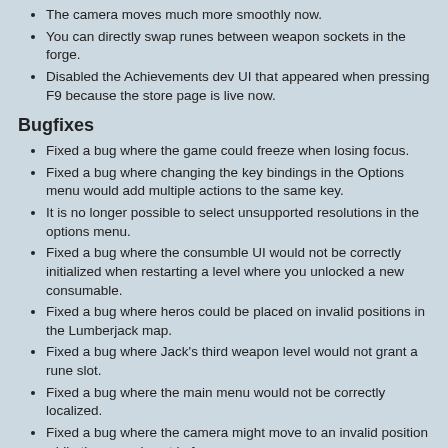The camera moves much more smoothly now.
You can directly swap runes between weapon sockets in the forge.
Disabled the Achievements dev UI that appeared when pressing F9 because the store page is live now.
Bugfixes
Fixed a bug where the game could freeze when losing focus.
Fixed a bug where changing the key bindings in the Options menu would add multiple actions to the same key.
It is no longer possible to select unsupported resolutions in the options menu.
Fixed a bug where the consumble UI would not be correctly initialized when restarting a level where you unlocked a new consumable.
Fixed a bug where heros could be placed on invalid positions in the Lumberjack map.
Fixed a bug where Jack's third weapon level would not grant a rune slot.
Fixed a bug where the main menu would not be correctly localized.
Fixed a bug where the camera might move to an invalid position while the game is not in focus.
Fixed a bug where creeps would flicker in the Tower map.
Fixed a bug where the middle mouse button would be treated as a left click.
Fixed the position of a shrine on the Mines map that was standing